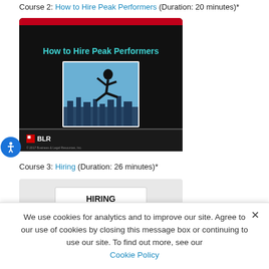Course 2: How to Hire Peak Performers (Duration: 20 minutes)*
[Figure (screenshot): Screenshot of e-learning course slide titled 'How to Hire Peak Performers' with a BLR logo, showing a person leaping over a city skyline on a dark background.]
Course 3: Hiring (Duration: 26 minutes)*
[Figure (screenshot): Screenshot of e-learning course slide titled 'HIRING' on a light gray background.]
We use cookies for analytics and to improve our site. Agree to our use of cookies by closing this message box or continuing to use our site. To find out more, see our Cookie Policy